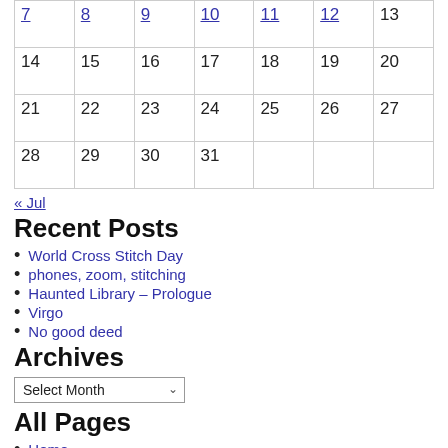| 7 | 8 | 9 | 10 | 11 | 12 | 13 |
| 14 | 15 | 16 | 17 | 18 | 19 | 20 |
| 21 | 22 | 23 | 24 | 25 | 26 | 27 |
| 28 | 29 | 30 | 31 |  |  |  |
« Jul
Recent Posts
World Cross Stitch Day
phones, zoom, stitching
Haunted Library – Prologue
Virgo
No good deed
Archives
Select Month
All Pages
Home
Blog
Projects